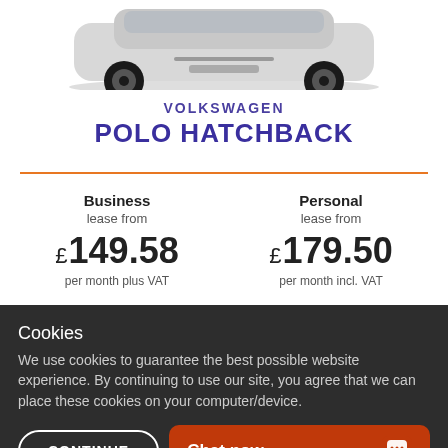[Figure (photo): Partial view of a white Volkswagen Polo Hatchback car, showing the front and top portion against white background]
VOLKSWAGEN POLO HATCHBACK
Business
lease from
£149.58
per month plus VAT

Personal
lease from
£179.50
per month incl. VAT
GET A QUOTE
Cookies
We use cookies to guarantee the best possible website experience. By continuing to use our site, you agree that we can place these cookies on your computer/device.
CONTINUE
Chat now